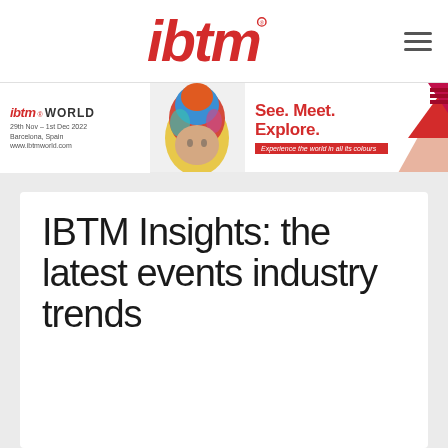[Figure (logo): ibtm logo in red italic bold font with registered trademark symbol]
[Figure (infographic): ibtm WORLD banner advertisement: dates 29th Nov - 1st Dec 2022, Barcelona, Spain, www.ibtmworld.com, with photo of person wearing colorful headgear, See. Meet. Explore. tagline, Experience the world in all its colours, geometric shapes in red/pink]
IBTM Insights: the latest events industry trends